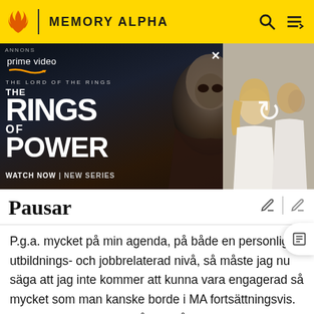MEMORY ALPHA
[Figure (screenshot): Amazon Prime Video advertisement for The Lord of the Rings: The Rings of Power series. Shows a cloaked dark figure on the left panel and a blonde woman with people in the right panel. Text reads 'prime video', 'THE LORD OF THE RINGS THE RINGS OF POWER', 'WATCH NOW | NEW SERIES'.]
Pausar
P.g.a. mycket på min agenda, på både en personlig, utbildnings- och jobbrelaterad nivå, så måste jag nu säga att jag inte kommer att kunna vara engagerad så mycket som man kanske borde i MA fortsättningsvis. Jag kanske dyker upp då och då, men ni kan inte räkna med något mer än detta. Denna wiki klarar sig inte i nuläget, trots att flera har gjort stora ansträngningar för att få den på